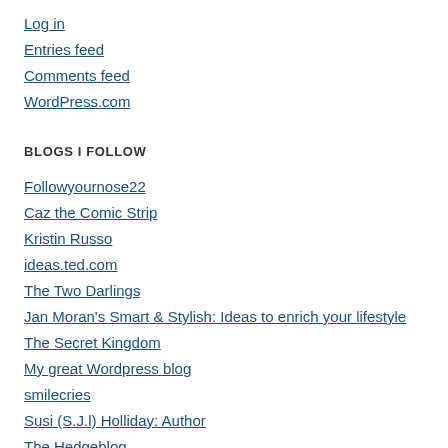Log in
Entries feed
Comments feed
WordPress.com
BLOGS I FOLLOW
Followyournose22
Caz the Comic Strip
Kristin Russo
ideas.ted.com
The Two Darlings
Jan Moran's Smart & Stylish: Ideas to enrich your lifestyle
The Secret Kingdom
My great Wordpress blog
smilecries
Susi (S.J.l) Holliday: Author
The Hedgeblog